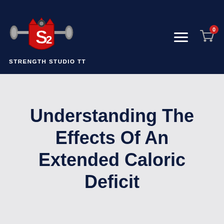[Figure (logo): Strength Studio TT logo with barbell and stylized S2 shield emblem on dark navy header background, with hamburger menu and cart icon with badge showing 0]
Understanding The Effects Of An Extended Caloric Deficit